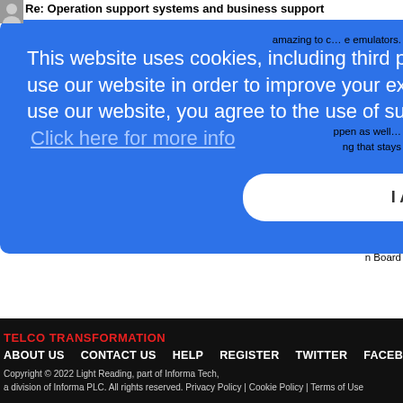Re: Operation support systems and business support
amazing to c... e emulators.
ppen as well... ng that stays
n Board
This website uses cookies, including third party ones, to allow for analysis of how people use our website in order to improve your experience and our services. By continuing to use our website, you agree to the use of such cookies.
Click here for more info
I Agree
TELCO TRANSFORMATION
ABOUT US   CONTACT US   HELP   REGISTER   TWITTER   FACEBOOK
Copyright © 2022 Light Reading, part of Informa Tech, a division of Informa PLC. All rights reserved. Privacy Policy | Cookie Policy | Terms of Use